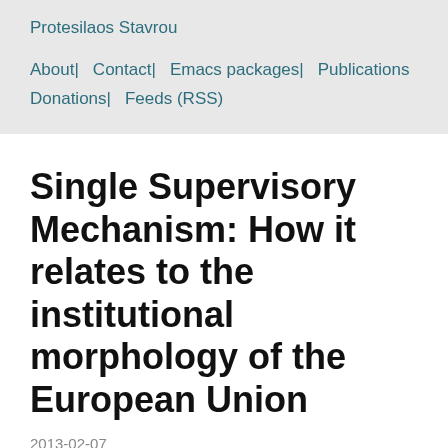Protesilaos Stavrou
About   Contact   Emacs packages   Publications   Donations   Feeds (RSS)
Single Supervisory Mechanism: How it relates to the institutional morphology of the European Union
2013-02-07